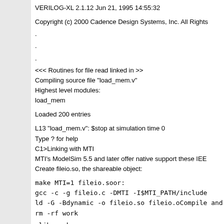VERILOG-XL 2.1.12 Jun 21, 1995 14:55:32
Copyright (c) 2000 Cadence Design Systems, Inc. All Rights
.
.
.
<<< Routines for file read linked in >>
Compiling source file "load_mem.v"
Highest level modules:
load_mem
Loaded 200 entries
L13 "load_mem.v": $stop at simulation time 0
Type ? for help
C1>Linking with MTI
MTI's ModelSim 5.5 and later offer native support these IEE
Create fileio.so, the shareable object:
make MTI=1 fileio.soor:
gcc -c -g fileio.c -DMTI -I$MTI_PATH/include
ld -G -Bdynamic -o fileio.so fileio.oCompile and run yo
rm -rf work
vlib work